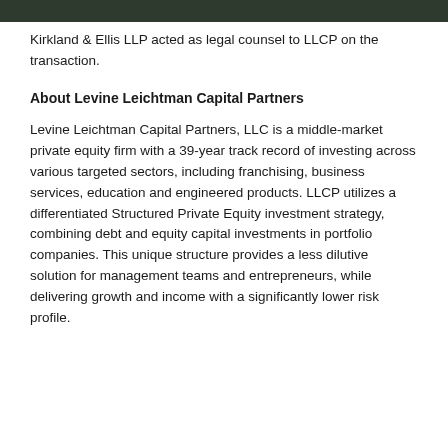Kirkland & Ellis LLP acted as legal counsel to LLCP on the transaction.
About Levine Leichtman Capital Partners
Levine Leichtman Capital Partners, LLC is a middle-market private equity firm with a 39-year track record of investing across various targeted sectors, including franchising, business services, education and engineered products. LLCP utilizes a differentiated Structured Private Equity investment strategy, combining debt and equity capital investments in portfolio companies. This unique structure provides a less dilutive solution for management teams and entrepreneurs, while delivering growth and income with a significantly lower risk profile.